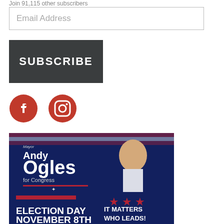Join 91,115 other subscribers
[Figure (screenshot): Email address input field with placeholder text 'Email Address']
[Figure (other): Dark gray SUBSCRIBE button]
[Figure (other): Facebook and Instagram social media icons in red/dark red]
[Figure (photo): Campaign promotional image for Mayor Andy Ogles for Congress showing a man in a navy suit, with navy background, American flag motif. Bottom half shows Election Day November 8th text and 'IT MATTERS WHO LEADS!' with red stars.]